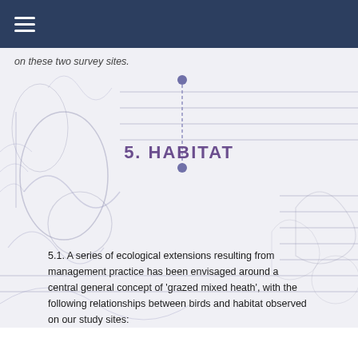≡
on these two survey sites.
5. HABITAT
5.1. A series of ecological extensions resulting from management practice has been envisaged around a central general concept of 'grazed mixed heath', with the following relationships between birds and habitat observed on our study sites: